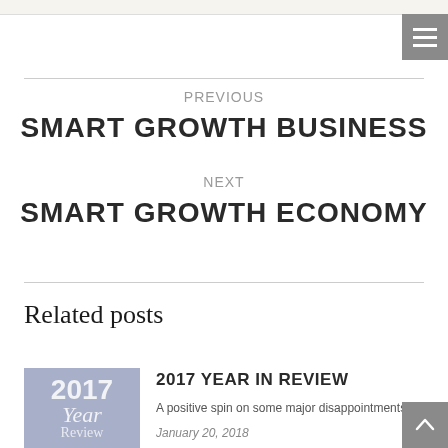PREVIOUS
SMART GROWTH BUSINESS
NEXT
SMART GROWTH ECONOMY
Related posts
[Figure (photo): Thumbnail image for 2017 Year in Review post, blue-grey background with text '2017 Year Review']
2017 YEAR IN REVIEW
A positive spin on some major disappointments
January 20, 2018